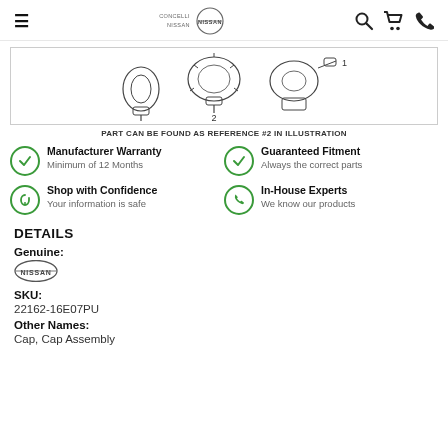Concelli Nissan — Navigation header with search, cart, and phone icons
[Figure (engineering-diagram): Illustration of Nissan distributor cap assembly parts labeled 1, 2, and 4]
PART CAN BE FOUND AS REFERENCE #2 IN ILLUSTRATION
Manufacturer Warranty — Minimum of 12 Months
Guaranteed Fitment — Always the correct parts
Shop with Confidence — Your information is safe
In-House Experts — We know our products
DETAILS
Genuine:
[Figure (logo): Nissan logo badge]
SKU:
22162-16E07PU
Other Names:
Cap, Cap Assembly